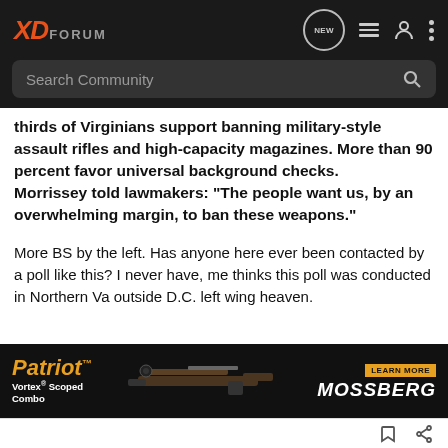XD Forum — Search Community (navigation header with search bar)
thirds of Virginians support banning military-style assault rifles and high-capacity magazines. More than 90 percent favor universal background checks. Morrissey told lawmakers: "The people want us, by an overwhelming margin, to ban these weapons."
More BS by the left. Has anyone here ever been contacted by a poll like this? I never have, me thinks this poll was conducted in Northern Va outside D.C. left wing heaven.
"Those who would give up essential liberty to purchase a little temporary safety deserve neither liberty nor safety" Benjamin Franklin
[Figure (screenshot): Patriot Vortex Scoped Combo advertisement banner featuring a rifle image and Mossberg branding with LEARN MORE button]